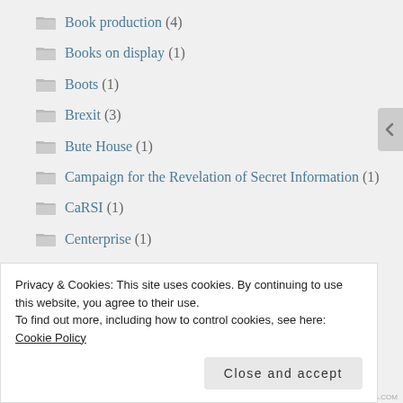Book production (4)
Books on display (1)
Boots (1)
Brexit (3)
Bute House (1)
Campaign for the Revelation of Secret Information (1)
CaRSI (1)
Centerprise (1)
Christopher Price (1)
Privacy & Cookies: This site uses cookies. By continuing to use this website, you agree to their use. To find out more, including how to control cookies, see here: Cookie Policy
Close and accept